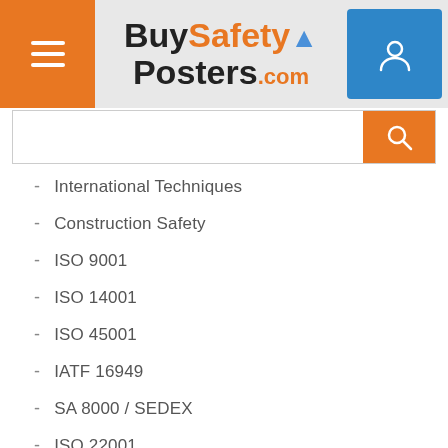[Figure (logo): BuySafetyPosters.com logo with orange hamburger menu and blue user account button]
[Figure (screenshot): Search input bar with orange search button]
International Techniques
Construction Safety
ISO 9001
ISO 14001
ISO 45001
IATF 16949
SA 8000 / SEDEX
ISO 22001
GMP
ISO 27001